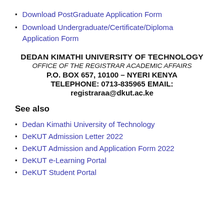Download PostGraduate Application Form
Download Undergraduate/Certificate/Diploma Application Form
DEDAN KIMATHI UNIVERSITY OF TECHNOLOGY
OFFICE OF THE REGISTRAR ACADEMIC AFFAIRS
P.O. BOX 657, 10100 – NYERI KENYA
TELEPHONE: 0713-835965 EMAIL:
registraraa@dkut.ac.ke
See also
Dedan Kimathi University of Technology
DeKUT Admission Letter 2022
DeKUT Admission and Application Form 2022
DeKUT e-Learning Portal
DeKUT Student Portal